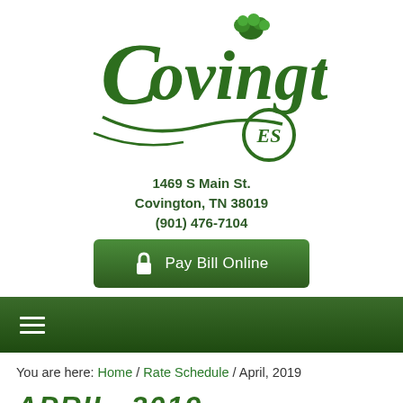[Figure (logo): Covington ES logo with decorative script text and cotton boll graphic, dark green color]
1469 S Main St.
Covington, TN 38019
(901) 476-7104
Pay Bill Online
Navigation menu bar
You are here: Home / Rate Schedule / April, 2019
APRIL, 2019